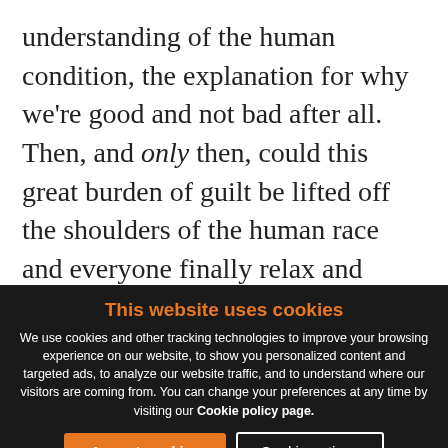understanding of the human condition, the explanation for why we're good and not bad after all. Then, and only then, could this great burden of guilt be lifted off the shoulders of the human race and everyone finally relax and understand themselves and look into this dark corner of the human condition within themselves without recrimination.
This website uses cookies
We use cookies and other tracking technologies to improve your browsing experience on our website, to show you personalized content and targeted ads, to analyze our website traffic, and to understand where our visitors are coming from. You can change your preferences at any time by visiting our Cookie policy page.